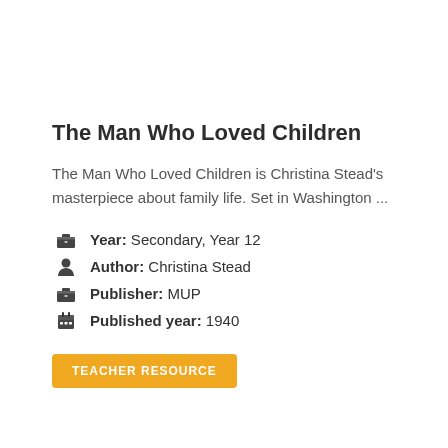The Man Who Loved Children
The Man Who Loved Children is Christina Stead's masterpiece about family life. Set in Washington ...
Year: Secondary, Year 12
Author: Christina Stead
Publisher: MUP
Published year: 1940
TEACHER RESOURCE